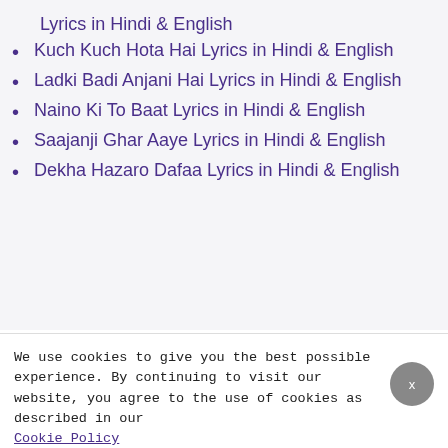Lyrics in Hindi & English
Kuch Kuch Hota Hai Lyrics in Hindi & English
Ladki Badi Anjani Hai Lyrics in Hindi & English
Naino Ki To Baat Lyrics in Hindi & English
Saajanji Ghar Aaye Lyrics in Hindi & English
Dekha Hazaro Dafaa Lyrics in Hindi & English
We use cookies to give you the best possible experience. By continuing to visit our website, you agree to the use of cookies as described in our Cookie Policy